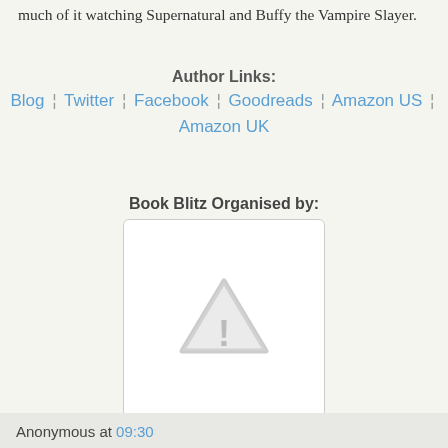much of it watching Supernatural and Buffy the Vampire Slayer.
Author Links: Blog | Twitter | Facebook | Goodreads | Amazon US | Amazon UK
Book Blitz Organised by:
[Figure (other): Broken image placeholder with warning triangle and exclamation mark icon]
Anonymous at 09:30